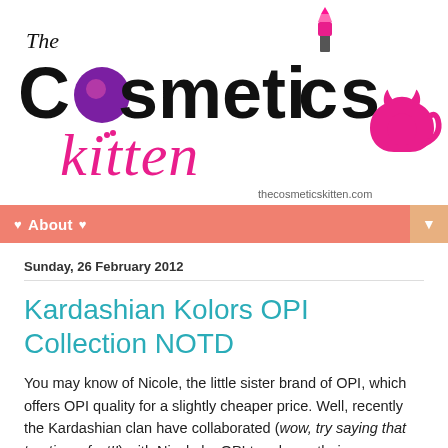[Figure (logo): The Cosmetics Kitten blog logo with stylized text, pink circle for 'o' in Cosmetics, lipstick replacing 'i', pink cursive 'kitten' text, pink cat silhouette, and website URL theecosmeticskitten.com]
♥ About ♥
Sunday, 26 February 2012
Kardashian Kolors OPI Collection NOTD
You may know of Nicole, the little sister brand of OPI, which offers OPI quality for a slightly cheaper price. Well, recently the Kardashian clan have collaborated (wow, try saying that ten times fast!!) with Nicole by OPI to release their own Holiday Collection nail polish shades. There are